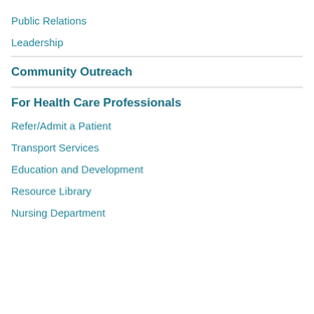Public Relations
Leadership
Community Outreach
For Health Care Professionals
Refer/Admit a Patient
Transport Services
Education and Development
Resource Library
Nursing Department